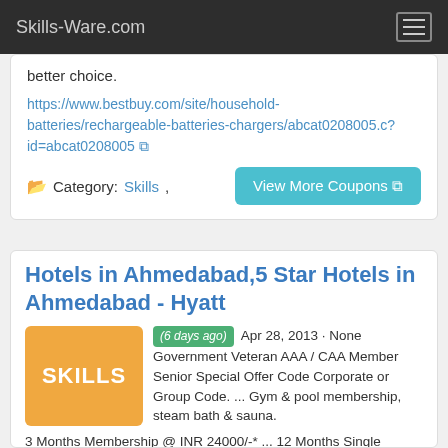Skills-Ware.com
better choice.
https://www.bestbuy.com/site/household-batteries/rechargeable-batteries-chargers/abcat0208005.c?id=abcat0208005
Category: Skills,
View More Coupons
Hotels in Ahmedabad,5 Star Hotels in Ahmedabad - Hyatt
(6 days ago) Apr 28, 2013 · None Government Veteran AAA / CAA Member Senior Special Offer Code Corporate or Group Code. ... Gym & pool membership, steam bath & sauna. 3 Months Membership @ INR 24000/-* ... 12 Months Single Membership @ INR 65000/-* Benefits: Gym & pool membership, steam bath & sauna. 20% discount